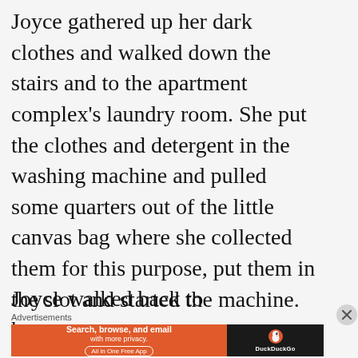Joyce gathered up her dark clothes and walked down the stairs and to the apartment complex's laundry room. She put the clothes and detergent in the washing machine and pulled some quarters out of the little canvas bag where she collected them for this purpose, put them in the slot and started the machine.
Joyce walked back to her
Advertisements
[Figure (other): DuckDuckGo advertisement banner. Orange left section reads 'Search, browse, and email with more privacy. All in One Free App'. Dark right section shows DuckDuckGo logo and name.]